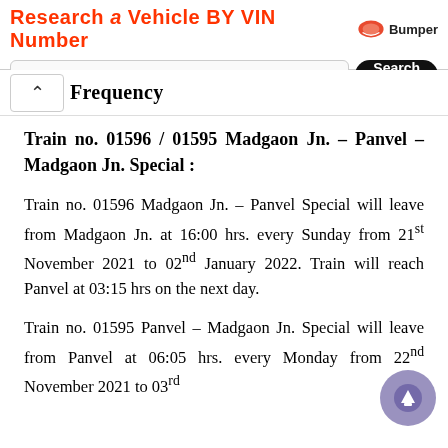[Figure (screenshot): Advertisement banner: 'Research a Vehicle BY VIN Number' with Bumper logo, VIN input field, and Search button]
Frequency
Train no. 01596 / 01595 Madgaon Jn. – Panvel – Madgaon Jn. Special :
Train no. 01596 Madgaon Jn. – Panvel Special will leave from Madgaon Jn. at 16:00 hrs. every Sunday from 21st November 2021 to 02nd January 2022. Train will reach Panvel at 03:15 hrs on the next day.
Train no. 01595 Panvel – Madgaon Jn. Special will leave from Panvel at 06:05 hrs. every Monday from 22nd November 2021 to 03rd